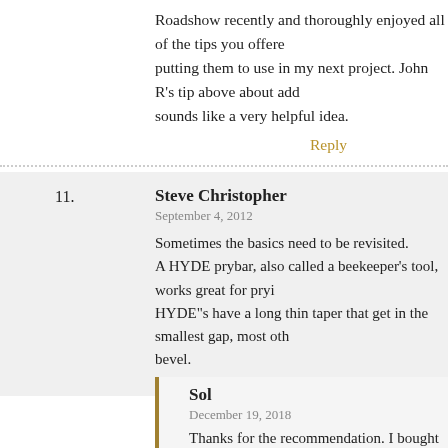Roadshow recently and thoroughly enjoyed all of the tips you offered. putting them to use in my next project. John R’s tip above about add sounds like a very helpful idea.
Reply
11. Steve Christopher
September 4, 2012
Sometimes the basics need to be revisited.
A HYDE prybar, also called a beekeeper’s tool, works great for prying. HYDE“s have a long thin taper that get in the smallest gap, most other bevel.
Reply
Sol
December 19, 2018
Thanks for the recommendation. I bought the Hyde prybar and it is the best I have. The thin taper really does the job.
Reply